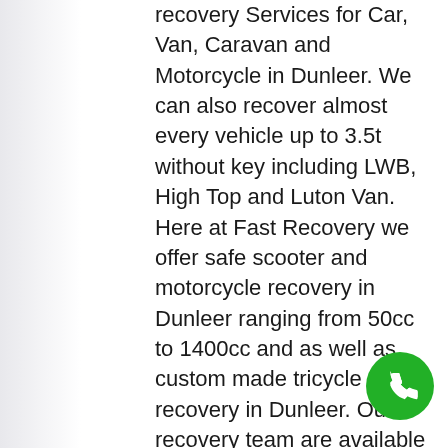recovery Services for Car, Van, Caravan and Motorcycle in Dunleer. We can also recover almost every vehicle up to 3.5t without key including LWB, High Top and Luton Van. Here at Fast Recovery we offer safe scooter and motorcycle recovery in Dunleer ranging from 50cc to 1400cc and as well as custom made tricycle recovery in Dunleer. Our recovery team are available to assist customers for breakdown recovery in Dunleer area, we can jump start car and also truck and bus requiring 24 volt battery. We provide fast response time and speedy solutions to your vehicle problems in the most effective and convenient way possible, we offer an accident, breakdown, recovery service from a simple jumpstart or wheel changing service just to get you moving again to full total lift transportation
[Figure (other): Green circular phone call button icon in bottom right corner]